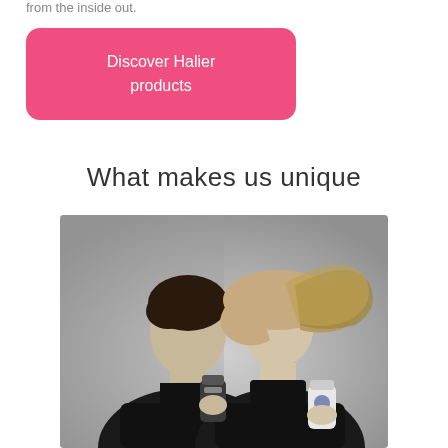from the inside out.
Discover Halier products
What makes us unique
[Figure (photo): Black and white photo of a man and woman in black turtlenecks holding hair product bottles against a grey background]